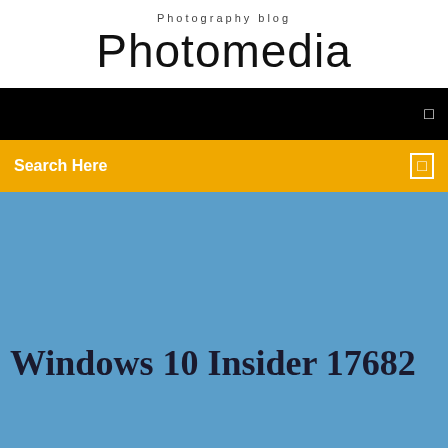Photography blog
Photomedia
[Figure (screenshot): Black navigation bar with a small icon on the right side]
[Figure (screenshot): Yellow/orange search bar with 'Search Here' text on the left and a small icon on the right]
Windows 10 Insider 17682